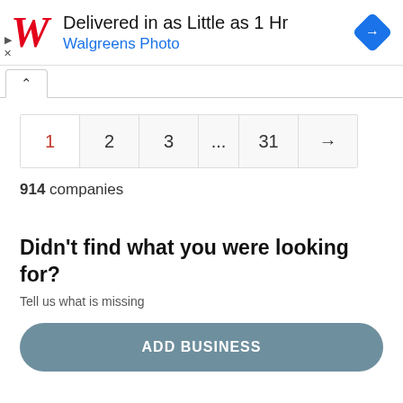[Figure (other): Walgreens Photo advertisement banner with Walgreens cursive W logo, text 'Delivered in as Little as 1 Hr' and 'Walgreens Photo', and a blue diamond navigation icon on the right.]
914 companies
Didn't find what you were looking for?
Tell us what is missing
ADD BUSINESS